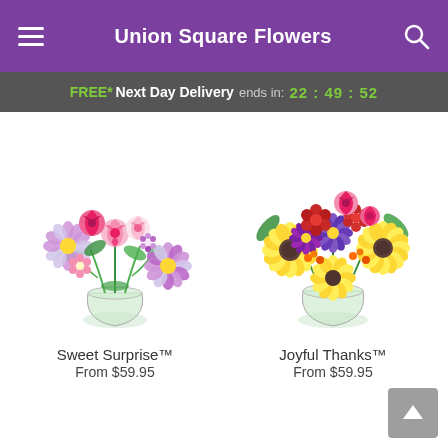Union Square Flowers
FREE* Next Day Delivery ends in: 22:49:52
[Figure (photo): Sweet Surprise flower bouquet in a glass vase with pink roses, lavender daisies, and mixed flowers]
Sweet Surprise™
From $59.95
[Figure (photo): Joyful Thanks flower bouquet in a glass vase with yellow sunflowers, purple and red flowers, and pink roses]
Joyful Thanks™
From $59.95